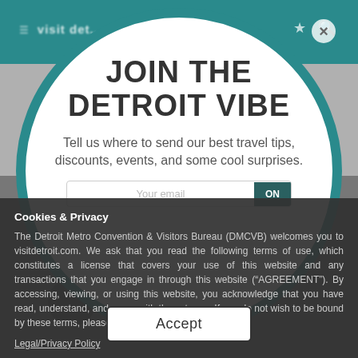[Figure (screenshot): Mobile browser screenshot showing visitdetroit.com website with teal header bar and blurred background content]
JOIN THE DETROIT VIBE
Tell us where to send our best travel tips, discounts, events, and some cool surprises.
Your email | ON
Cookies & Privacy
The Detroit Metro Convention & Visitors Bureau (DMCVB) welcomes you to visitdetroit.com. We ask that you read the following terms of use, which constitutes a license that covers your use of this website and any transactions that you engage in through this website (“AGREEMENT”). By accessing, viewing, or using this website, you acknowledge that you have read, understand, and agree with these terms. If you do not wish to be bound by these terms, please do not use this website.
Legal/Privacy Policy
Accept